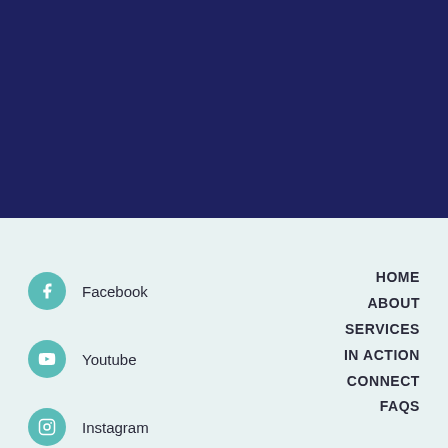[Figure (illustration): Dark navy blue solid background rectangle occupying the top half of the page]
Facebook
Youtube
Instagram
HOME
ABOUT
SERVICES
IN ACTION
CONNECT
FAQS